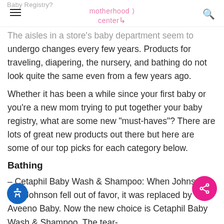Baby Registry? motherhood center
The aisles in a store's baby department seem to undergo changes every few years. Products for traveling, diapering, the nursery, and bathing do not look quite the same even from a few years ago. Whether it has been a while since your first baby or you're a new mom trying to put together your baby registry, what are some new "must-haves"? There are lots of great new products out there but here are some of our top picks for each category below.
Bathing
– Cetaphil Baby Wash & Shampoo: When Johnson and Johnson fell out of favor, it was replaced by Aveeno Baby. Now the new choice is Cetaphil Baby Wash & Shampoo. The tear-free and safe formula meant for sensitive skin for…